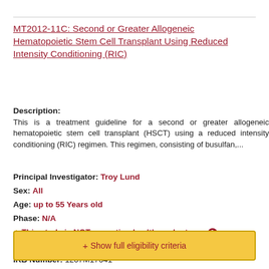MT2012-11C: Second or Greater Allogeneic Hematopoietic Stem Cell Transplant Using Reduced Intensity Conditioning (RIC)
Description: This is a treatment guideline for a second or greater allogeneic hematopoietic stem cell transplant (HSCT) using a reduced intensity conditioning (RIC) regimen. This regimen, consisting of busulfan,...
Principal Investigator: Troy Lund
Sex: All
Age: up to 55 Years old
Phase: N/A
⚠This study is NOT accepting healthy volunteers ❓
System ID: NCT01666080
IRB Number: 1207M17641
+ Show full eligibility criteria